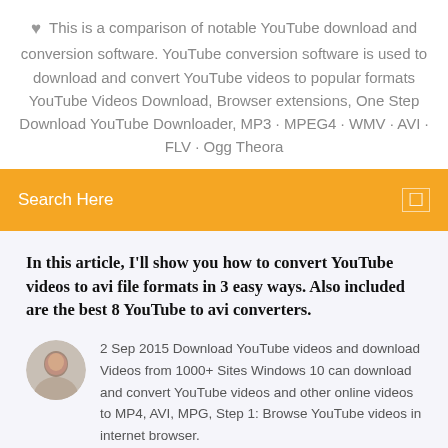♥  This is a comparison of notable YouTube download and conversion software. YouTube conversion software is used to download and convert YouTube videos to popular formats YouTube Videos Download, Browser extensions, One Step Download YouTube Downloader, MP3 · MPEG4 · WMV · AVI · FLV · Ogg Theora
Search Here
In this article, I'll show you how to convert YouTube videos to avi file formats in 3 easy ways. Also included are the best 8 YouTube to avi converters.
2 Sep 2015 Download YouTube videos and download Videos from 1000+ Sites Windows 10 can download and convert YouTube videos and other online videos to MP4, AVI, MPG, Step 1: Browse YouTube videos in internet browser.